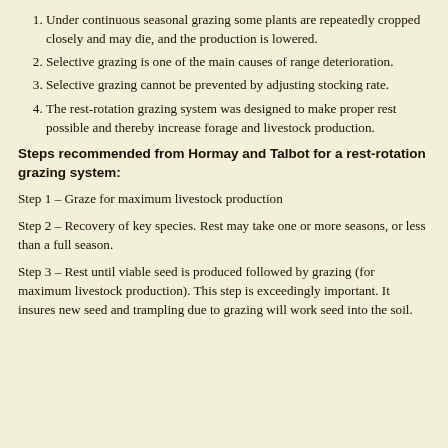Under continuous seasonal grazing some plants are repeatedly cropped closely and may die, and the production is lowered.
Selective grazing is one of the main causes of range deterioration.
Selective grazing cannot be prevented by adjusting stocking rate.
The rest-rotation grazing system was designed to make proper rest possible and thereby increase forage and livestock production.
Steps recommended from Hormay and Talbot for a rest-rotation grazing system:
Step 1 – Graze for maximum livestock production
Step 2 – Recovery of key species. Rest may take one or more seasons, or less than a full season.
Step 3 – Rest until viable seed is produced followed by grazing (for maximum livestock production). This step is exceedingly important. It insures new seed and trampling due to grazing will work seed into the soil.